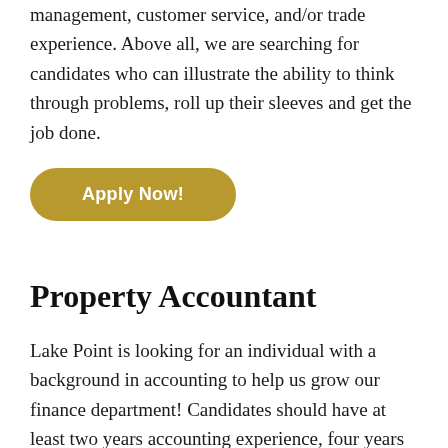management, customer service, and/or trade experience. Above all, we are searching for candidates who can illustrate the ability to think through problems, roll up their sleeves and get the job done.
Apply Now!
Property Accountant
Lake Point is looking for an individual with a background in accounting to help us grow our finance department! Candidates should have at least two years accounting experience, four years is preferred. Comfortable with handling